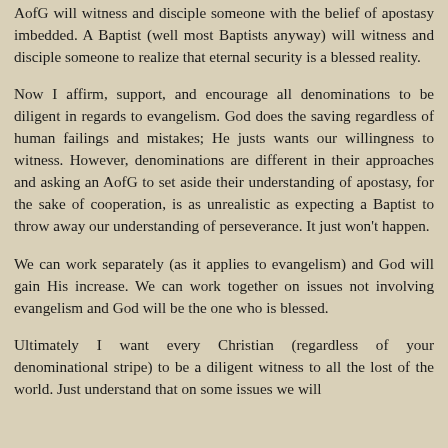AofG will witness and disciple someone with the belief of apostasy imbedded. A Baptist (well most Baptists anyway) will witness and disciple someone to realize that eternal security is a blessed reality.
Now I affirm, support, and encourage all denominations to be diligent in regards to evangelism. God does the saving regardless of human failings and mistakes; He justs wants our willingness to witness. However, denominations are different in their approaches and asking an AofG to set aside their understanding of apostasy, for the sake of cooperation, is as unrealistic as expecting a Baptist to throw away our understanding of perseverance. It just won't happen.
We can work separately (as it applies to evangelism) and God will gain His increase. We can work together on issues not involving evangelism and God will be the one who is blessed.
Ultimately I want every Christian (regardless of your denominational stripe) to be a diligent witness to all the lost of the world. Just understand that on some issues we will